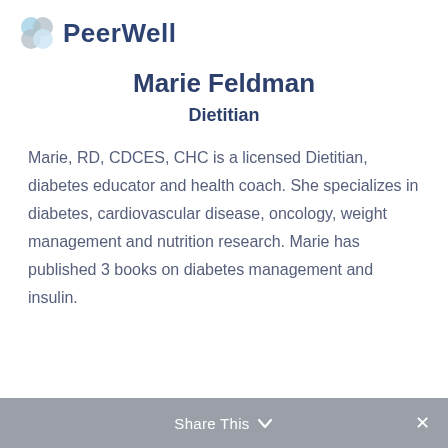[Figure (logo): PeerWell logo with stylized circular icon in blue/grey and bold navy text 'PeerWell']
Marie Feldman
Dietitian
Marie, RD, CDCES, CHC is a licensed Dietitian, diabetes educator and health coach. She specializes in diabetes, cardiovascular disease, oncology, weight management and nutrition research. Marie has published 3 books on diabetes management and insulin.
Share This ∨  ✕